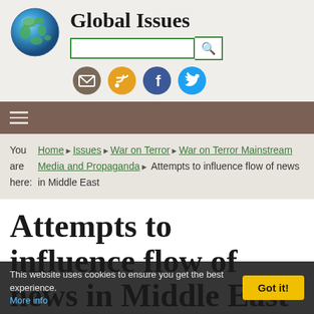Global Issues
Attempts to influence flow of news in Middle East
You are here: Home ▶ Issues ▶ War on Terror ▶ War on Terror Mainstream Media and Propaganda ▶ Attempts to influence flow of news in Middle East
This website uses cookies to ensure you get the best experience. More info